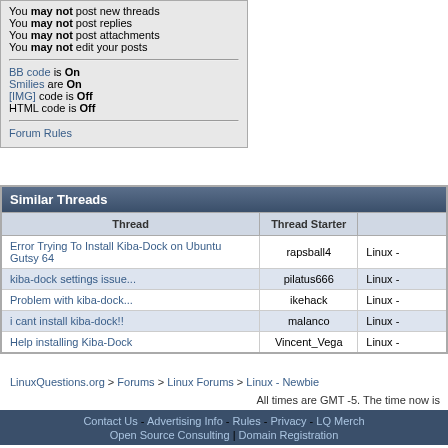You may not post new threads
You may not post replies
You may not post attachments
You may not edit your posts
BB code is On
Smilies are On
[IMG] code is Off
HTML code is Off
Forum Rules
Similar Threads
| Thread | Thread Starter |  |
| --- | --- | --- |
| Error Trying To Install Kiba-Dock on Ubuntu Gutsy 64 | rapsball4 | Linux - |
| kiba-dock settings issue... | pilatus666 | Linux - |
| Problem with kiba-dock... | ikehack | Linux - |
| i cant install kiba-dock!! | malanco | Linux - |
| Help installing Kiba-Dock | Vincent_Vega | Linux - |
LinuxQuestions.org > Forums > Linux Forums > Linux - Newbie
All times are GMT -5. The time now is
Contact Us - Advertising Info - Rules - Privacy - LQ Merch
Open Source Consulting | Domain Registration